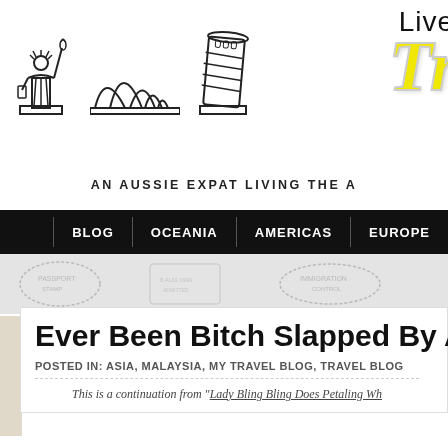[Figure (logo): Travel blog logo with icons of Statue of Liberty, Sydney Opera House, Leaning Tower of Pisa, and stylized text 'Live... Tr...' in yellow script]
AN AUSSIE EXPAT LIVING THE A...
BLOG | OCEANIA | AMERICAS | EUROPE
[Figure (photo): Passport stamps background banner image]
Ever Been Bitch Slapped By A...
POSTED IN: ASIA, MALAYSIA, MY TRAVEL BLOG, TRAVEL BLOG
This is a continuation from "Lady Bling Bling Does Petaling Wh..."